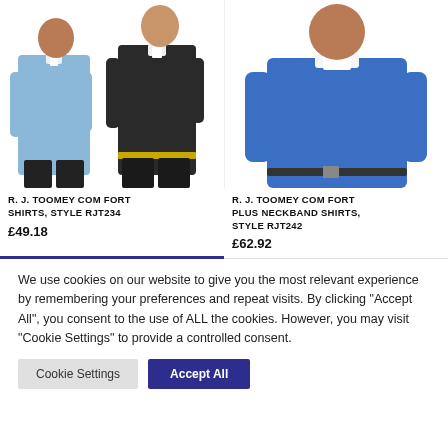[Figure (photo): Two men wearing clerical shirts: one in light blue long-sleeve shirt and one in dark/black long-sleeve shirt with priest collar]
[Figure (photo): Man wearing a blue comfort plus neckband clerical shirt]
R. J. TOOMEY COMFORT SHIRTS, STYLE RJT234
£49.18
R. J. TOOMEY COMFORT PLUS NECKBAND SHIRTS, STYLE RJT242
£62.92
We use cookies on our website to give you the most relevant experience by remembering your preferences and repeat visits. By clicking "Accept All", you consent to the use of ALL the cookies. However, you may visit "Cookie Settings" to provide a controlled consent.
Cookie Settings
Accept All